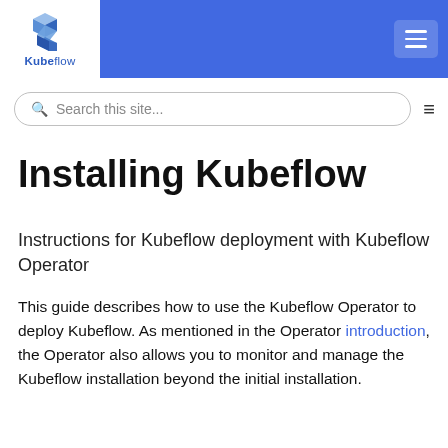Kubeflow
Installing Kubeflow
Instructions for Kubeflow deployment with Kubeflow Operator
This guide describes how to use the Kubeflow Operator to deploy Kubeflow. As mentioned in the Operator introduction, the Operator also allows you to monitor and manage the Kubeflow installation beyond the initial installation.